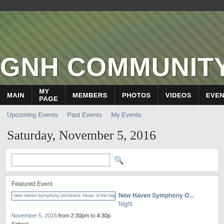[Figure (screenshot): Dark top bar above GNH Community website header]
GNH COMMUNITY
MAIN | MY PAGE | MEMBERS | PHOTOS | VIDEOS | EVENTS
Upcoming Events   Past Events   My Events
Saturday, November 5, 2016
Featured Event
New Haven Symphony Orchestra: Music of the Night
November 5, 2016 from 2:30pm to 4:30pm School
Pops conductor Chelsea Tinton opens th...